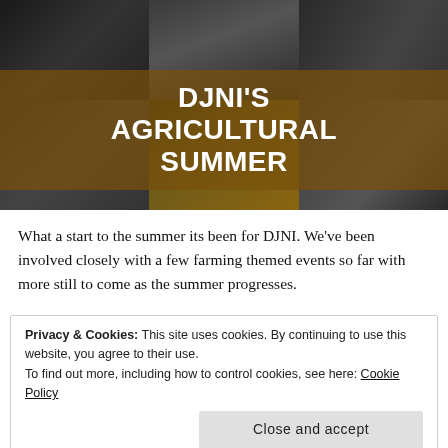[Figure (photo): A collage of black-and-white and sepia-toned photos of DJ events and crowds at agricultural/farming themed summer events, with a brown semi-transparent overlay band in the center containing the title text.]
DJNI'S AGRICULTURAL SUMMER
What a start to the summer its been for DJNI. We've been involved closely with a few farming themed events so far with more still to come as the summer progresses.
Privacy & Cookies: This site uses cookies. By continuing to use this website, you agree to their use.
To find out more, including how to control cookies, see here: Cookie Policy
Close and accept